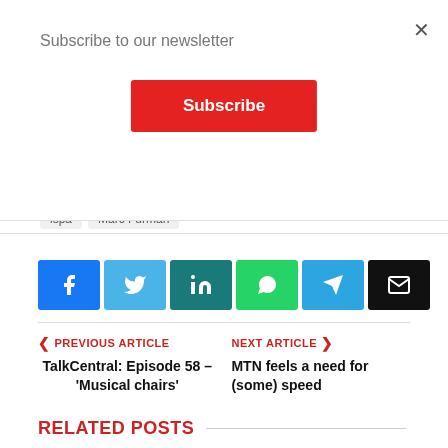Subscribe to our newsletter
Subscribe
ispa   Marc Furman
[Figure (infographic): Social media share buttons: Facebook (blue), Twitter (light blue), LinkedIn (teal), WhatsApp (green), Telegram (blue), Email (black)]
PREVIOUS ARTICLE
TalkCentral: Episode 58 – 'Musical chairs'
NEXT ARTICLE
MTN feels a need for (some) speed
RELATED POSTS